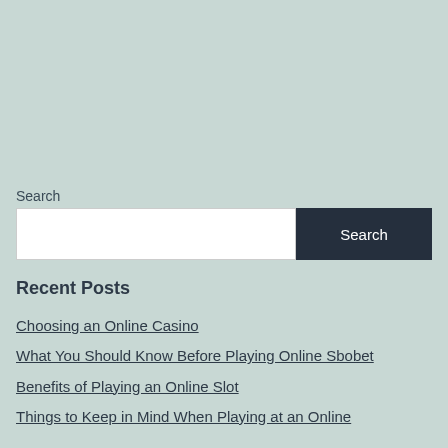Search
Search
Recent Posts
Choosing an Online Casino
What You Should Know Before Playing Online Sbobet
Benefits of Playing an Online Slot
Things to Keep in Mind When Playing at an Online